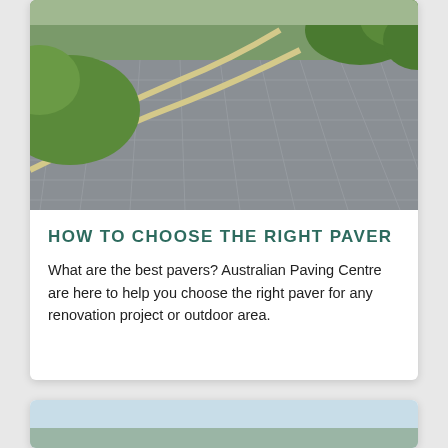[Figure (photo): Aerial/perspective view of a grey tiled paving driveway or pathway with yellow/cream curved edging lines, green grass on the left and green shrubs on the upper right]
HOW TO CHOOSE THE RIGHT PAVER
What are the best pavers? Australian Paving Centre are here to help you choose the right paver for any renovation project or outdoor area.
[Figure (photo): Partial view of a second card showing a light blue/sky image at the bottom of the page]